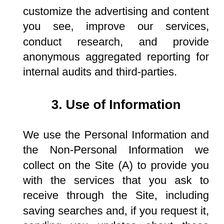customize the advertising and content you see, improve our services, conduct research, and provide anonymous aggregated reporting for internal audits and third-parties.
3. Use of Information
We use the Personal Information and the Non-Personal Information we collect on the Site (A) to provide you with the services that you ask to receive through the Site, including saving searches and, if you request it, sending you updates about those searches, (B) to receive, if you choose, to receive periodic industry updates, (C) to answer your questions or